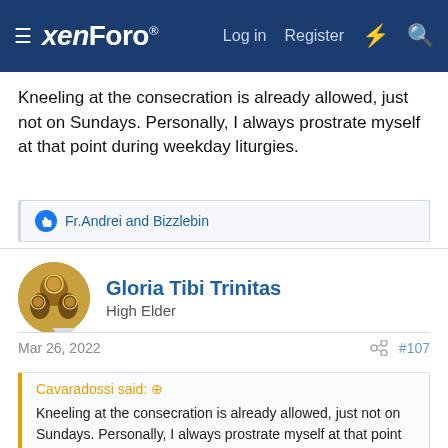xenForo — Log in  Register
Kneeling at the consecration is already allowed, just not on Sundays. Personally, I always prostrate myself at that point during weekday liturgies.
👍 Fr.Andrei and Bizzlebin
Gloria Tibi Trinitas
High Elder
Mar 26, 2022  #107
Cavaradossi said: ⊕
Kneeling at the consecration is already allowed, just not on Sundays. Personally, I always prostrate myself at that point during weekday liturgies.
While the first ecumenical council does prohibit kneeling on Sunday, I think the context was because kneeling was